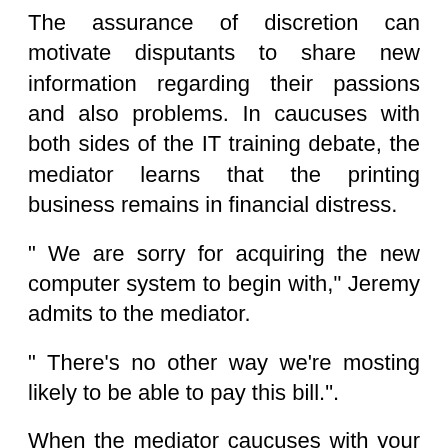The assurance of discretion can motivate disputants to share new information regarding their passions and also problems. In caucuses with both sides of the IT training debate, the mediator learns that the printing business remains in financial distress.
" We are sorry for acquiring the new computer system to begin with," Jeremy admits to the mediator.
" There's no other way we're mosting likely to be able to pay this bill.".
When the mediator caucuses with your side, you discuss that you are stressed